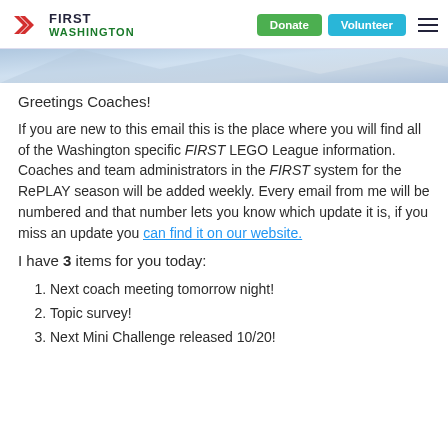FIRST WASHINGTON | Donate | Volunteer
[Figure (illustration): Banner image strip with light blue geometric/abstract background]
Greetings Coaches!
If you are new to this email this is the place where you will find all of the Washington specific FIRST LEGO League information. Coaches and team administrators in the FIRST system for the RePLAY season will be added weekly. Every email from me will be numbered and that number lets you know which update it is, if you miss an update you can find it on our website.
I have 3 items for you today:
Next coach meeting tomorrow night!
Topic survey!
Next Mini Challenge released 10/20!